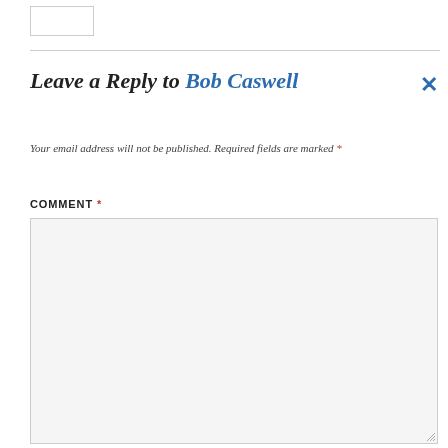Leave a Reply to Bob Caswell ×
Your email address will not be published. Required fields are marked *
COMMENT *